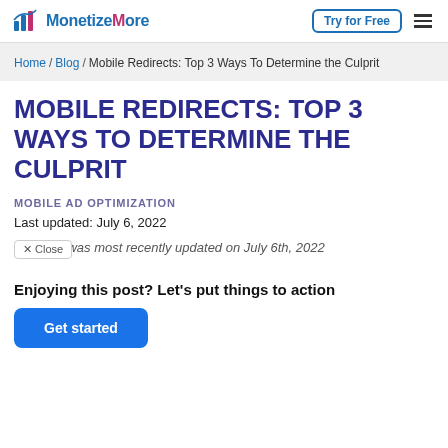MonetizeMore | Try for Free
Home / Blog / Mobile Redirects: Top 3 Ways To Determine the Culprit
MOBILE REDIRECTS: TOP 3 WAYS TO DETERMINE THE CULPRIT
MOBILE AD OPTIMIZATION
Last updated: July 6, 2022
This content was most recently updated on July 6th, 2022
Enjoying this post? Let's put things to action
Get started